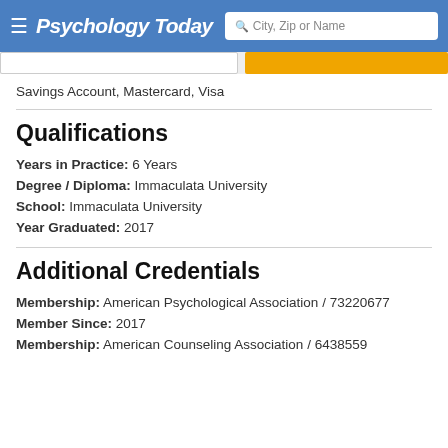Psychology Today — City, Zip or Name search bar
Savings Account, Mastercard, Visa
Qualifications
Years in Practice: 6 Years
Degree / Diploma: Immaculata University
School: Immaculata University
Year Graduated: 2017
Additional Credentials
Membership: American Psychological Association / 73220677
Member Since: 2017
Membership: American Counseling Association / 6438559